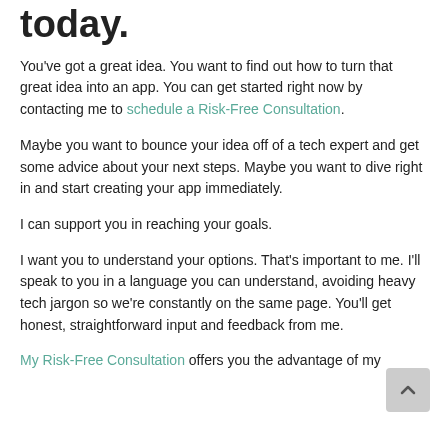today.
You've got a great idea. You want to find out how to turn that great idea into an app. You can get started right now by contacting me to schedule a Risk-Free Consultation.
Maybe you want to bounce your idea off of a tech expert and get some advice about your next steps. Maybe you want to dive right in and start creating your app immediately.
I can support you in reaching your goals.
I want you to understand your options. That's important to me. I'll speak to you in a language you can understand, avoiding heavy tech jargon so we're constantly on the same page. You'll get honest, straightforward input and feedback from me.
My Risk-Free Consultation offers you the advantage of my